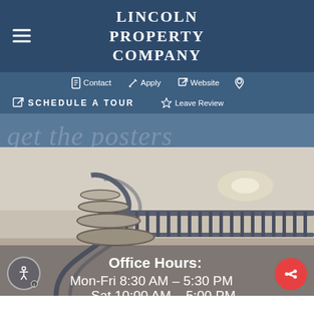Lincoln Property Company
Contact | Apply | Website | (location icon)
SCHEDULE A TOUR | Leave Review
get the posters
[Figure (photo): Interior photo of apartment showing spiral staircase and upper floor railing with metal balusters, overlaid with office hours text: Office Hours: Mon-Fri 8:30 AM - 5:30 PM / Sat 10:00 AM - 5:00 PM]
Office Hours:
Mon-Fri 8:30 AM – 5:30 PM
Sat 10:00 AM – 5:00 PM